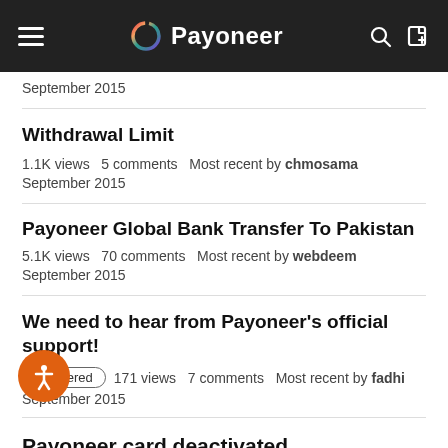Payoneer
September 2015
Withdrawal Limit
1.1K views   5 comments   Most recent by chmosama   September 2015
Payoneer Global Bank Transfer To Pakistan
5.1K views   70 comments   Most recent by webdeem   September 2015
We need to hear from Payoneer's official support!
Answered   171 views   7 comments   Most recent by fadhi   September 2015
Payoneer card deactivated